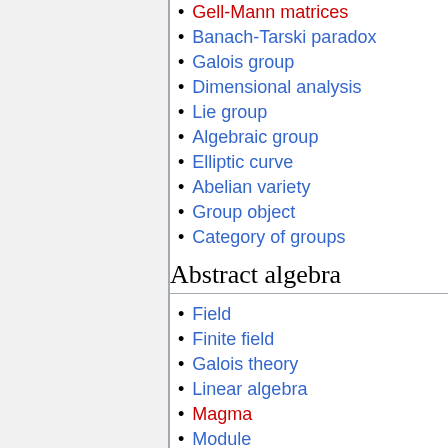Gell-Mann matrices
Banach-Tarski paradox
Galois group
Dimensional analysis
Lie group
Algebraic group
Elliptic curve
Abelian variety
Group object
Category of groups
Abstract algebra
Field
Finite field
Galois theory
Linear algebra
Magma
Module
Monoid